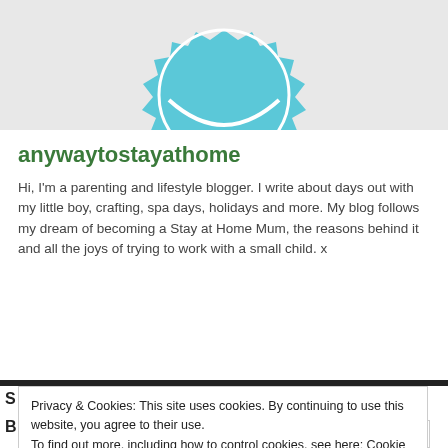[Figure (illustration): Teal/blue badge or seal shape (gear/star outline) on light grey background, partially cropped at top]
anywaytostayathome
Hi, I'm a parenting and lifestyle blogger. I write about days out with my little boy, crafting, spa days, holidays and more. My blog follows my dream of becoming a Stay at Home Mum, the reasons behind it and all the joys of trying to work with a small child. x
View Full Profile →
Privacy & Cookies: This site uses cookies. By continuing to use this website, you agree to their use. To find out more, including how to control cookies, see here: Cookie Policy
Close and accept
Email Address